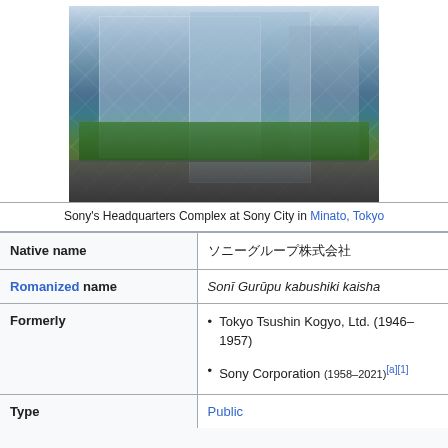[Figure (photo): Sony's Headquarters Complex building, a modern glass skyscraper with reflective facade, surrounded by trees and city streets in Minato, Tokyo]
Sony's Headquarters Complex at Sony City in Minato, Tokyo
| Native name | ソニーグループ株式会社 |
| Romanized name | Sonī Gurūpu kabushiki kaisha |
| Formerly | • Tokyo Tsushin Kogyo, Ltd. (1946–1957)
• Sony Corporation (1958–2021)[a][1] |
| Type | Public |